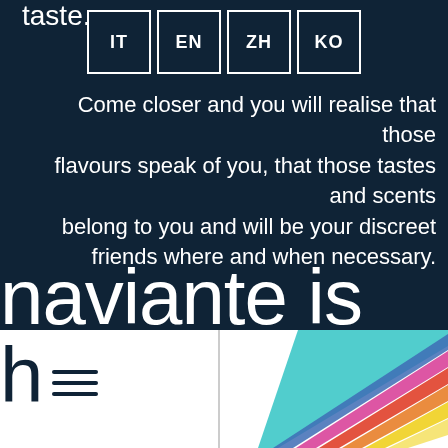taste.
[Figure (infographic): Language selector buttons: IT, EN, ZH, KO — white bordered squares on dark background]
Come closer and you will realise that those flavours speak of you, that those tastes and scents
belong to you and will be your discreet friends where and when necessary.
naviante is
[Figure (infographic): Bottom section with white background, hamburger menu icon on left, vertical divider line, and diagonal multicolored stripes (teal, blue, pink, red, orange, yellow) on right side]